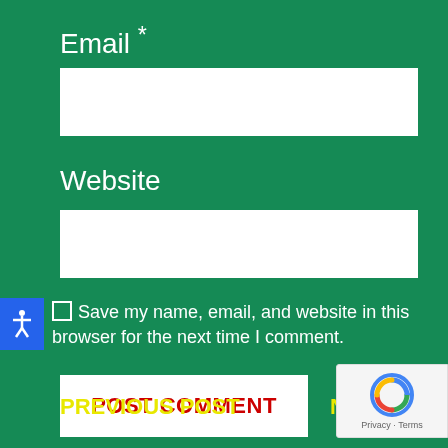Email *
Website
Save my name, email, and website in this browser for the next time I comment.
POST COMMENT
PREVIOUS POST
NEXT PO
[Figure (logo): reCAPTCHA badge with Privacy and Terms links]